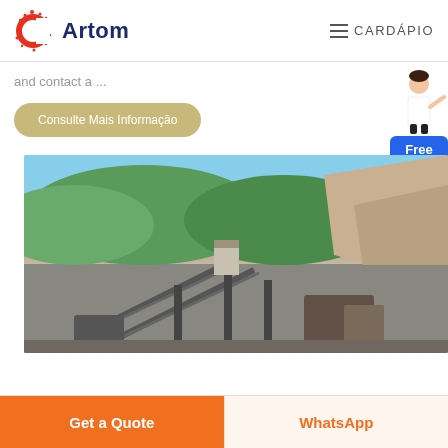[Figure (logo): Artom company logo with red C icon and dark blue Artom text]
≡ CARDÁPIO
and contact a ...
Consulte Mais Informação
[Figure (photo): Mining/quarry site with conveyor belts, heavy machinery, rock face, and green hills in background under blue sky]
Get a Quote
WhatsApp